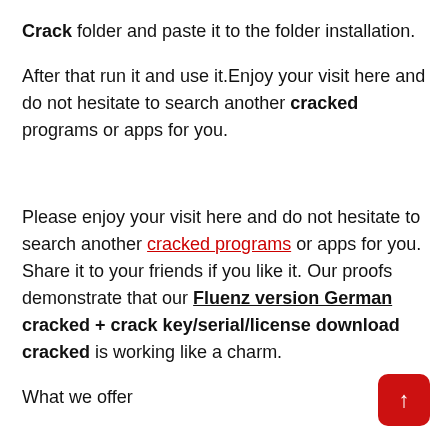Crack folder and paste it to the folder installation.
After that run it and use it.Enjoy your visit here and do not hesitate to search another cracked programs or apps for you.
Please enjoy your visit here and do not hesitate to search another cracked programs or apps for you. Share it to your friends if you like it. Our proofs demonstrate that our Fluenz version German cracked + crack key/serial/license download cracked is working like a charm.
What we offer